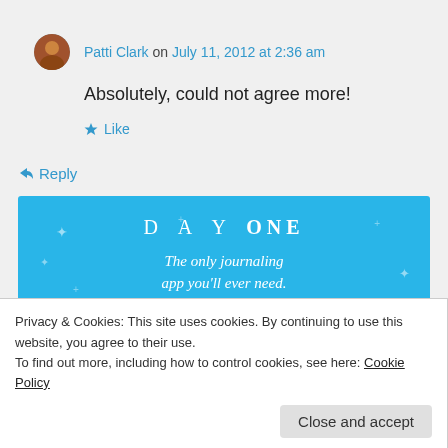Patti Clark on July 11, 2012 at 2:36 am
Absolutely, could not agree more!
★ Like
↳ Reply
[Figure (illustration): DAY ONE — The only journaling app you'll ever need. Blue background advertisement banner.]
Privacy & Cookies: This site uses cookies. By continuing to use this website, you agree to their use.
To find out more, including how to control cookies, see here: Cookie Policy
Close and accept